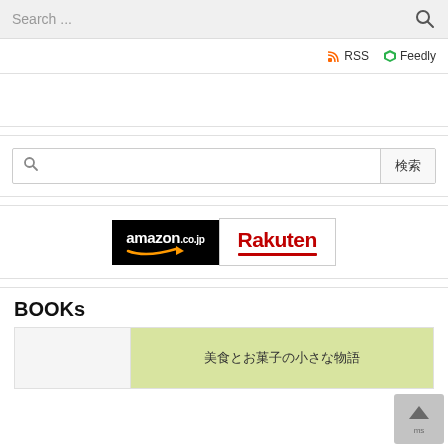[Figure (screenshot): Search bar at top of page with placeholder 'Search ...' and magnifying glass icon on right]
RSS  Feedly
[Figure (screenshot): Empty advertisement block]
[Figure (screenshot): Search widget with magnifying glass icon and '検索' button]
[Figure (screenshot): amazon.co.jp and Rakuten shop logos side by side]
BOOKs
[Figure (screenshot): Book card with green label '美食とお菓子の小さな物語']